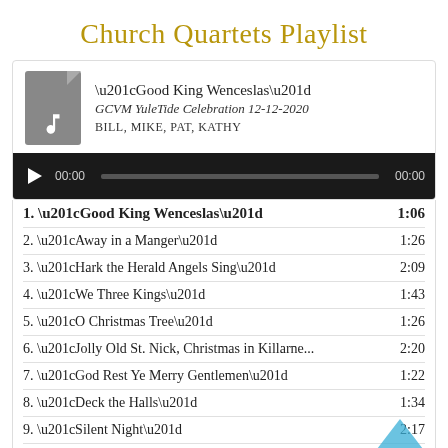Church Quartets Playlist
[Figure (screenshot): Audio player card showing track info for 'Good King Wenceslas' by GCVM YuleTide Celebration 12-12-2020, with BILL, MIKE, PAT, KATHY, and a black audio playback bar showing 00:00 / 00:00]
1. “Good King Wenceslas”  1:06
2. “Away in a Manger”  1:26
3. “Hark the Herald Angels Sing”  2:09
4. “We Three Kings”  1:43
5. “O Christmas Tree”  1:26
6. “Jolly Old St. Nick, Christmas in Killarne...”  2:20
7. “God Rest Ye Merry Gentlemen”  1:22
8. “Deck the Halls”  1:34
9. “Silent Night”  2:17
10. “Jingle Bells”  2:04
11. “O Holy Night”  2:21